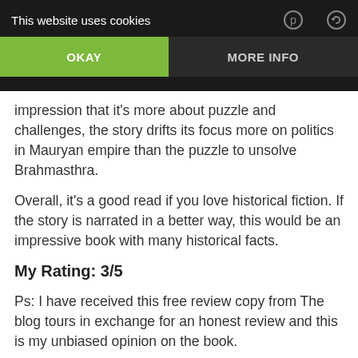This website uses cookies | OKAY | MORE INFO
impression that it's more about puzzle and challenges, the story drifts its focus more on politics in Mauryan empire than the puzzle to unsolve Brahmasthra.
Overall, it's a good read if you love historical fiction. If the story is narrated in a better way, this would be an impressive book with many historical facts.
My Rating: 3/5
Ps: I have received this free review copy from The blog tours in exchange for an honest review and this is my unbiased opinion on the book.
Read an excerpt of The Indus about Challenge here: